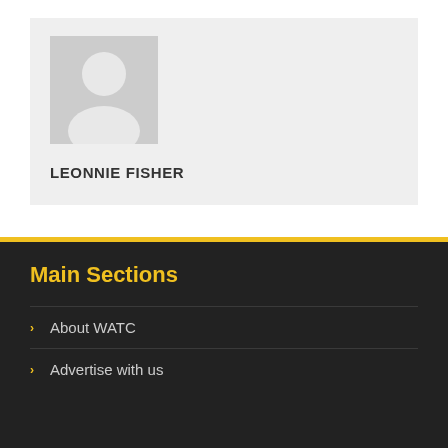[Figure (photo): Placeholder person silhouette icon on grey background, representing a user profile avatar]
LEONNIE FISHER
Main Sections
About WATC
Advertise with us